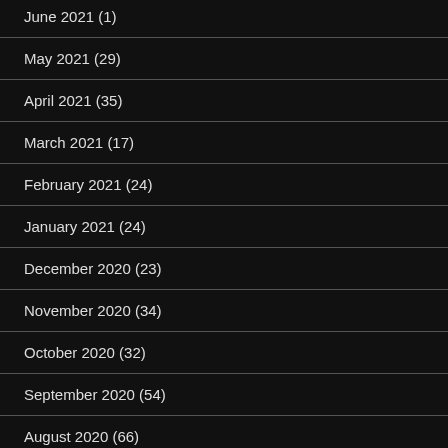June 2021 (1)
May 2021 (29)
April 2021 (35)
March 2021 (17)
February 2021 (24)
January 2021 (24)
December 2020 (23)
November 2020 (34)
October 2020 (32)
September 2020 (54)
August 2020 (66)